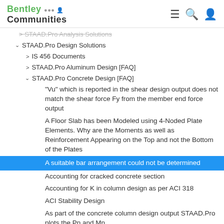Bentley Communities
STAAD.Pro Analysis Solutions (strikethrough)
STAAD.Pro Design Solutions
IS 456 Documents
STAAD.Pro Aluminum Design [FAQ]
STAAD.Pro Concrete Design [FAQ]
"Vu" which is reported in the shear design output does not match the shear force Fy from the member end force output
A Floor Slab has been Modeled using 4-Noded Plate Elements. Why are the Moments as well as Reinforcement Appearing on the Top and not the Bottom of the Plates
A suitable bar arrangement could not be determined
Accounting for cracked concrete section
Accounting for K in column design as per ACI 318
ACI Stability Design
As part of the concrete column design output STAAD.Pro plots the Pn and Mn
Bar Size Can Not Be Matched to Meet All Requirements